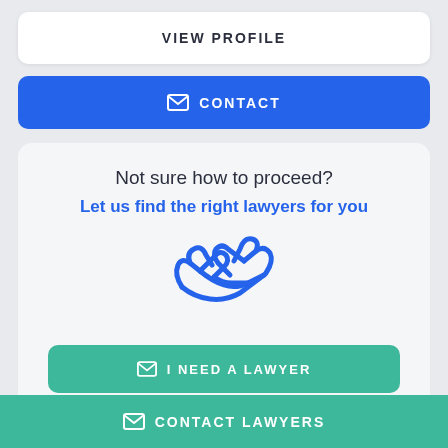VIEW PROFILE
CONTACT
Not sure how to proceed?
Let us find the right lawyers for you
[Figure (illustration): Blue handshake icon illustration]
I NEED A LAWYER
CONTACT LAWYERS